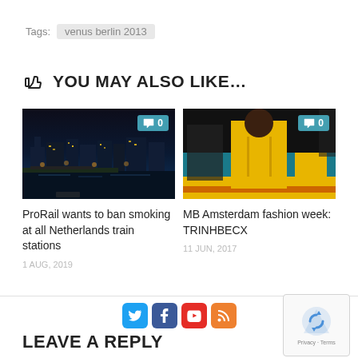Tags:  venus berlin 2013
YOU MAY ALSO LIKE...
[Figure (photo): Night cityscape of Amsterdam with boats and city lights reflected on water]
[Figure (photo): Fashion model wearing yellow jacket on runway at MB Amsterdam fashion week]
ProRail wants to ban smoking at all Netherlands train stations
1 AUG, 2019
MB Amsterdam fashion week: TRINHBECX
11 JUN, 2017
LEAVE A REPLY